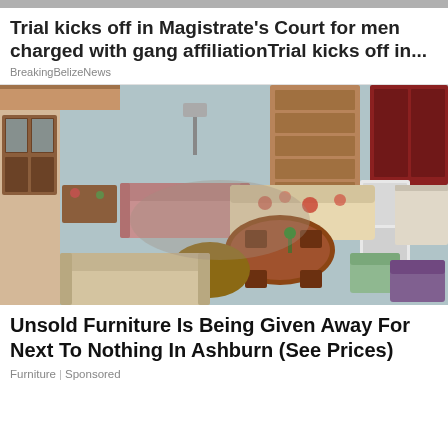Trial kicks off in Magistrate's Court for men charged with gang affiliationTrial kicks off in...
BreakingBelizeNews
[Figure (photo): Aerial view of a large furniture showroom floor with various sofas, chairs, dining sets, shelving units, and kitchen displays arranged across a wide open space.]
Unsold Furniture Is Being Given Away For Next To Nothing In Ashburn (See Prices)
Furniture | Sponsored